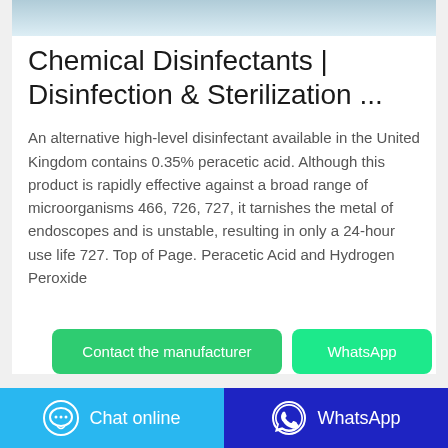[Figure (photo): Partial top image of medical/disinfectant product, light blue-white gradient]
Chemical Disinfectants | Disinfection & Sterilization ...
An alternative high-level disinfectant available in the United Kingdom contains 0.35% peracetic acid. Although this product is rapidly effective against a broad range of microorganisms 466, 726, 727, it tarnishes the metal of endoscopes and is unstable, resulting in only a 24-hour use life 727. Top of Page. Peracetic Acid and Hydrogen Peroxide
Contact the manufacturer
WhatsApp
Chat online
WhatsApp